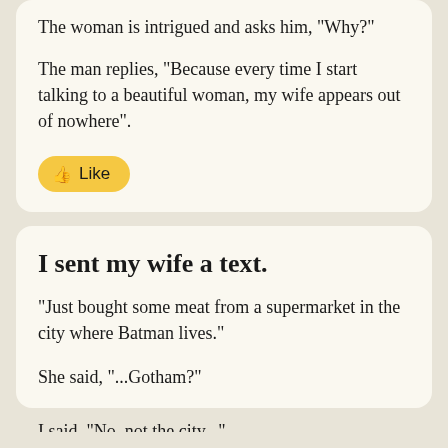The woman is intrigued and asks him, "Why?"
The man replies, "Because every time I start talking to a beautiful woman, my wife appears out of nowhere".
[Figure (other): Yellow rounded like button with thumbs up icon and 'Like' text]
I sent my wife a text.
"Just bought some meat from a supermarket in the city where Batman lives."
She said, "...Gotham?"
I said, "No, not the city..."